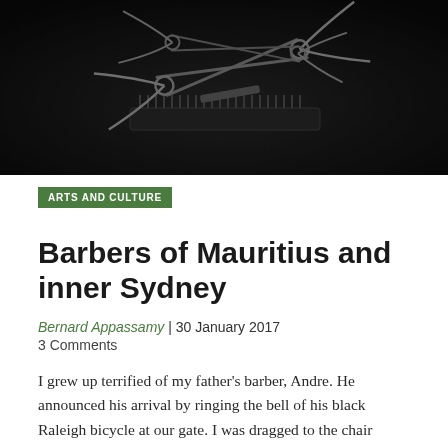[Figure (photo): Dark overhead photo of barber scissors, combs and other grooming tools laid out on a dark surface]
ARTS AND CULTURE
Barbers of Mauritius and inner Sydney
Bernard Appassamy | 30 January 2017
3 Comments
I grew up terrified of my father's barber, Andre. He announced his arrival by ringing the bell of his black Raleigh bicycle at our gate. I was dragged to the chair where the towel was passed on to me. Andre did his best to keep his calm with me. I must have tested his